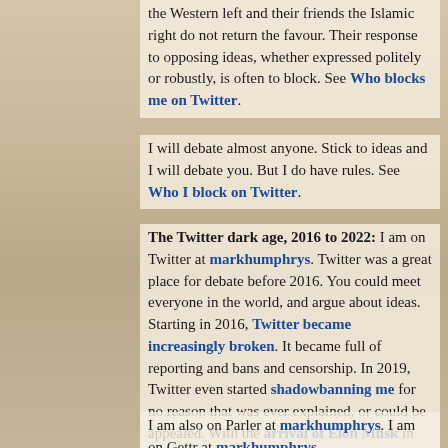the Western left and their friends the Islamic right do not return the favour. Their response to opposing ideas, whether expressed politely or robustly, is often to block. See Who blocks me on Twitter.
I will debate almost anyone. Stick to ideas and I will debate you. But I do have rules. See Who I block on Twitter.
The Twitter dark age, 2016 to 2022: I am on Twitter at markhumphrys. Twitter was a great place for debate before 2016. You could meet everyone in the world, and argue about ideas. Starting in 2016, Twitter became increasingly broken. It became full of reporting and bans and censorship. In 2019, Twitter even started shadowbanning me for no reason that was ever explained, or could be appealed. With the arrival of Elon Musk in 2022, Twitter's dark age of censorship may end. Let's hope so.
I am also on Parler at markhumphrys. I am on Gettr at markhumphrys.